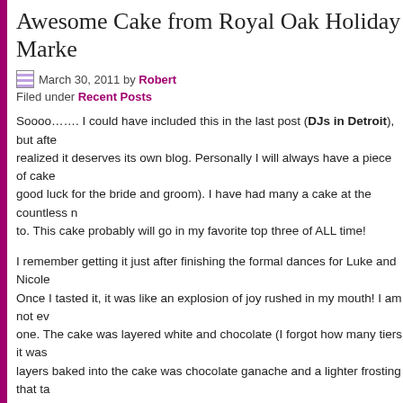Awesome Cake from Royal Oak Holiday Market
March 30, 2011 by Robert
Filed under Recent Posts
Soooo……. I could have included this in the last post (DJs in Detroit), but after realized it deserves its own blog. Personally I will always have a piece of cake good luck for the bride and groom). I have had many a cake at the countless n to. This cake probably will go in my favorite top three of ALL time!
I remember getting it just after finishing the formal dances for Luke and Nicole Once I tasted it, it was like an explosion of joy rushed in my mouth! I am not ev one. The cake was layered white and chocolate (I forgot how many tiers it was layers baked into the cake was chocolate ganache and a lighter frosting that ta
I had to investigate where this cake came from, and it turns out that Nicole orde Royal Oak on Main Street. I actually, I just got off the phone with Cara who is o Holiday Market and thanked her personally =)
The Holiday Market has a wide variety of tortes, pies, cakes and pastries. Thei cakes, hand drawn artwork, and photo cakes.
If you would like to order from them, their information is below:
1202 S. Main Street